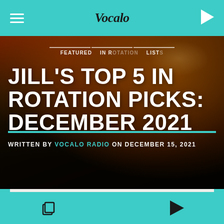Vocalo
[Figure (screenshot): Vocalo Radio website screenshot showing hero image with blurred close-up face in dark warm tones with navigation tabs FEATURED, IN ROTATION, LISTS]
JILL'S TOP 5 IN ROTATION PICKS: DECEMBER 2021
WRITTEN BY VOCALO RADIO ON DECEMBER 15, 2021